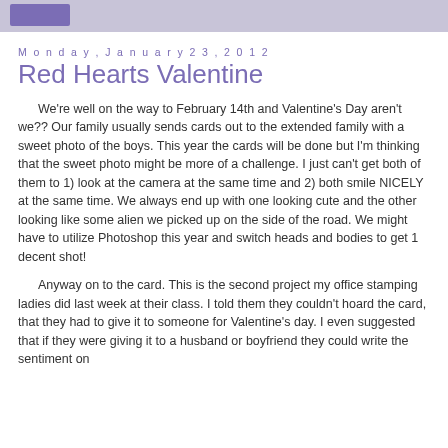Monday, January 23, 2012
Red Hearts Valentine
We're well on the way to February 14th and Valentine's Day aren't we??  Our family usually sends cards out to the extended family with a sweet photo of the boys.  This year the cards will be done but I'm thinking that the sweet photo might be more of a challenge.  I just can't get both of them to 1) look at the camera at the same time and 2) both smile NICELY at the same time.  We always end up with one looking cute and the other looking like some alien we picked up on the side of the road.  We might have to utilize Photoshop this year and switch heads and bodies to get 1 decent shot!
Anyway on to the card.  This is the second project my office stamping ladies did last week at their class.  I told them they couldn't hoard the card, that they had to give it to someone for Valentine's day.  I even suggested that if they were giving it to a husband or boyfriend they could write the sentiment on